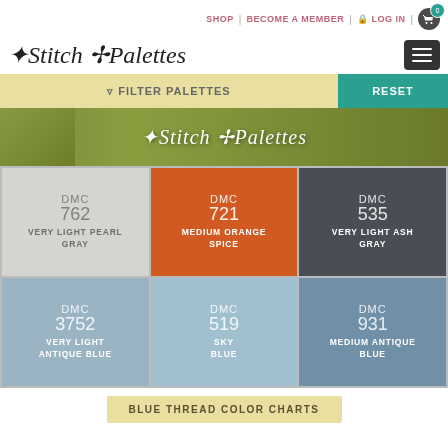SHOP | BECOME A MEMBER | LOG IN | 0
Stitch Palettes
FILTER PALETTES | RESET
[Figure (illustration): Stitch Palettes banner with green plant background and script logo text]
DMC 762 VERY LIGHT PEARL GRAY
DMC 721 MEDIUM ORANGE SPICE
DMC 535 VERY LIGHT ASH GRAY
DMC 3752 VERY LIGHT ANTIQUE BLUE
DMC 519 SKY BLUE
DMC 931 MEDIUM ANTIQUE BLUE
BLUE THREAD COLOR CHARTS